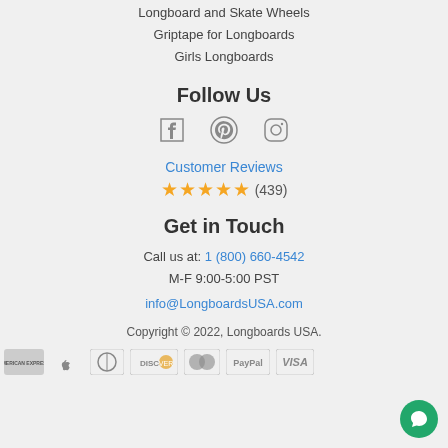Longboard and Skate Wheels
Griptape for Longboards
Girls Longboards
Follow Us
[Figure (infographic): Social media icons: Facebook, Pinterest, Instagram]
Customer Reviews ★★★★★ (439)
Get in Touch
Call us at: 1 (800) 660-4542
M-F 9:00-5:00 PST
info@LongboardsUSA.com
Copyright © 2022, Longboards USA.
[Figure (infographic): Payment method icons: American Express, Apple Pay, Diners Club, Discover, MasterCard, PayPal, Visa]